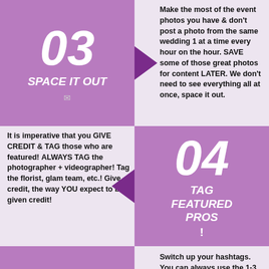[Figure (infographic): Step 03 purple tile with bold italic number 03 and label SPACE IT OUT with a small icon below]
Make the most of the event photos you have & don't post a photo from the same wedding 1 at a time every hour on the hour. SAVE some of those great photos for content LATER. We don't need to see everything all at once, space it out.
It is imperative that you GIVE CREDIT & TAG those who are featured! ALWAYS TAG the photographer + videographer! Tag the florist, glam team, etc.! Give credit, the way YOU expect to be given credit!
[Figure (infographic): Step 04 purple tile with bold italic number 04 and label TAG FEATURED PROS !]
[Figure (infographic): Step 05 purple tile with bold italic number 05 and label CHANGE IT UP]
Switch up your hashtags. You can always use the 1-3 that are specific to your biz, but if you use the same 10 or 30 every time...